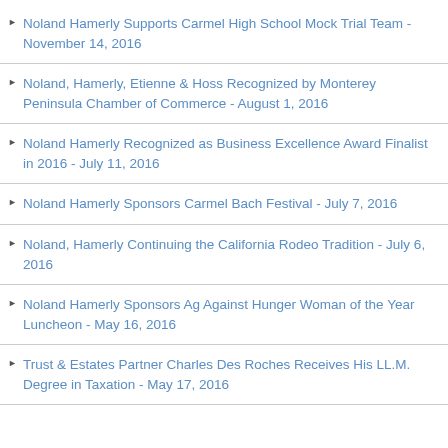Noland Hamerly Supports Carmel High School Mock Trial Team - November 14, 2016
Noland, Hamerly, Etienne & Hoss Recognized by Monterey Peninsula Chamber of Commerce - August 1, 2016
Noland Hamerly Recognized as Business Excellence Award Finalist in 2016 - July 11, 2016
Noland Hamerly Sponsors Carmel Bach Festival - July 7, 2016
Noland, Hamerly Continuing the California Rodeo Tradition - July 6, 2016
Noland Hamerly Sponsors Ag Against Hunger Woman of the Year Luncheon - May 16, 2016
Trust & Estates Partner Charles Des Roches Receives His LL.M. Degree in Taxation - May 17, 2016